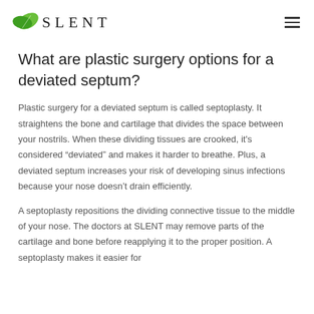SLENT
What are plastic surgery options for a deviated septum?
Plastic surgery for a deviated septum is called septoplasty. It straightens the bone and cartilage that divides the space between your nostrils. When these dividing tissues are crooked, it’s considered “deviated” and makes it harder to breathe. Plus, a deviated septum increases your risk of developing sinus infections because your nose doesn’t drain efficiently.
A septoplasty repositions the dividing connective tissue to the middle of your nose. The doctors at SLENT may remove parts of the cartilage and bone before reapplying it to the proper position. A septoplasty makes it easier for...